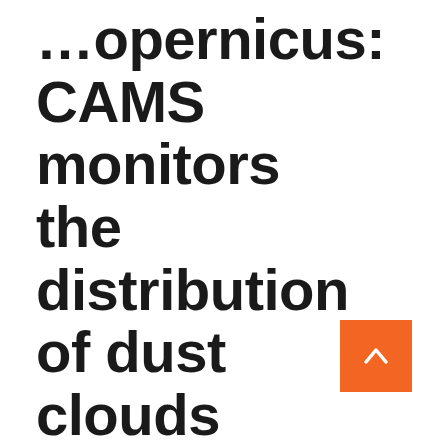Copernicus: CAMS monitors the distribution of dust clouds from the Sahara across southern and central Europe